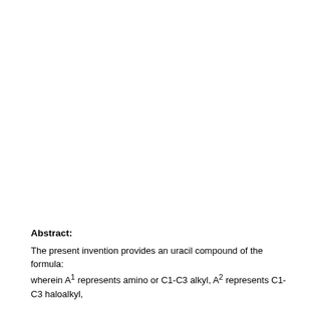Abstract:
The present invention provides an uracil compound of the formula: wherein A1 represents amino or C1-C3 alkyl, A2 represents C1-C3 haloalkyl,